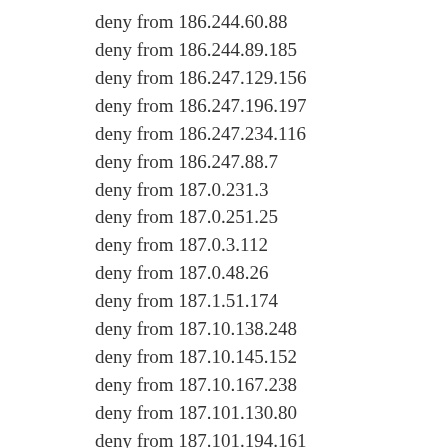deny from 186.244.60.88
deny from 186.244.89.185
deny from 186.247.129.156
deny from 186.247.196.197
deny from 186.247.234.116
deny from 186.247.88.7
deny from 187.0.231.3
deny from 187.0.251.25
deny from 187.0.3.112
deny from 187.0.48.26
deny from 187.1.51.174
deny from 187.10.138.248
deny from 187.10.145.152
deny from 187.10.167.238
deny from 187.101.130.80
deny from 187.101.194.161
deny from 187.101.224.28
deny from 187.101.248.92
deny from 187.101.25.65